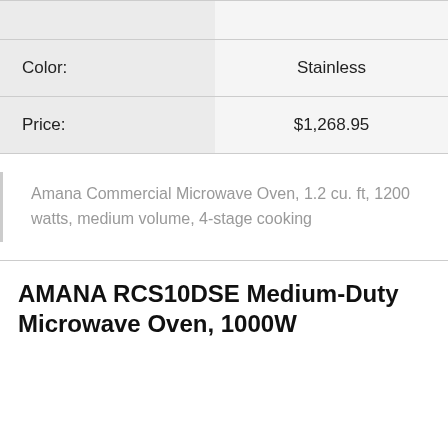|  |  |
| Color: | Stainless |
| Price: | $1,268.95 |
Amana Commercial Microwave Oven, 1.2 cu. ft, 1200 watts, medium volume, 4-stage cooking
AMANA RCS10DSE Medium-Duty Microwave Oven, 1000W